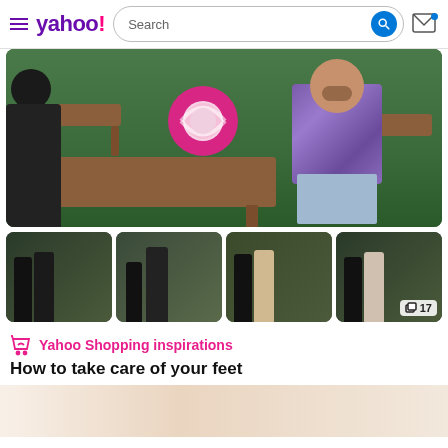yahoo! Search
[Figure (photo): Main photo: man in purple patterned shirt standing near an outdoor table with benches and tropical greenery; pink donut float in background]
[Figure (photo): Thumbnail strip of 4 images showing women in black outfits in an outdoor garden setting; last thumbnail has a 17-image gallery indicator]
Yahoo Shopping inspirations
How to take care of your feet
[Figure (photo): Bottom partial preview image showing a close-up of feet/skin tone]